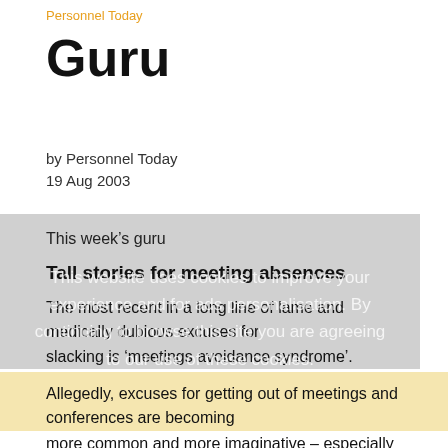Personnel Today
Guru
by Personnel Today
19 Aug 2003
This week's guru
Tall stories for meeting absences
The most recent in a long line of lame and medically dubious excuses for slacking is 'meetings avoidance syndrome'.
Allegedly, excuses for getting out of meetings and conferences are becoming more common and more imaginative – especially